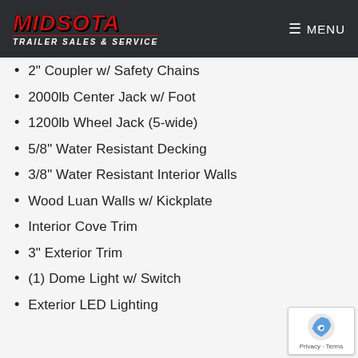MIDSOTA TRAILER SALES & SERVICE | MENU
2" Coupler w/ Safety Chains
2000lb Center Jack w/ Foot
1200lb Wheel Jack (5-wide)
5/8" Water Resistant Decking
3/8" Water Resistant Interior Walls
Wood Luan Walls w/ Kickplate
Interior Cove Trim
3" Exterior Trim
(1) Dome Light w/ Switch
Exterior LED Lighting